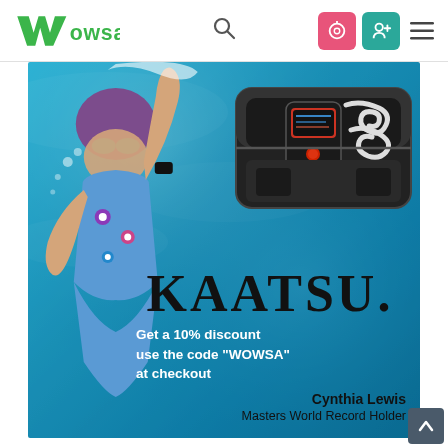[Figure (logo): WOWSA logo — green W icon followed by 'owsa' in green text]
[Figure (infographic): KAATSU advertisement showing a female swimmer underwater in a floral swimsuit and purple cap, wearing googles and a black device on her wrist, alongside an image of the KAATSU device in a black carrying case. Text overlay reads: KAATSU / Get a 10% discount / use the code "WOWSA" / at checkout / Cynthia Lewis / Masters World Record Holder]